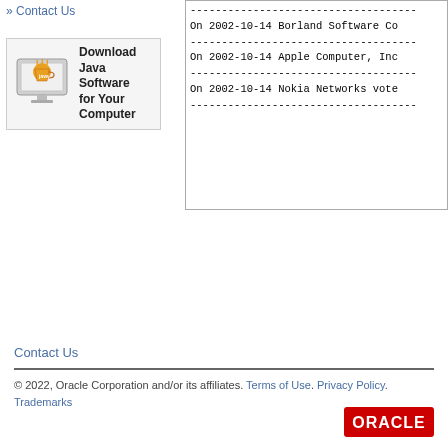» Contact Us
[Figure (illustration): Java software download banner with monitor icon showing Java logo and text 'Download Java Software for Your Computer']
------------------------------------------------------------
On 2002-10-14 Borland Software Co
------------------------------------------------------------
On 2002-10-14 Apple Computer, Inc
------------------------------------------------------------
On 2002-10-14 Nokia Networks vote
------------------------------------------------------------
Contact Us
© 2022, Oracle Corporation and/or its affiliates. Terms of Use. Privacy Policy. Trademarks